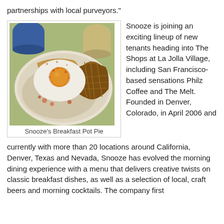partnerships with local purveyors."
[Figure (photo): A plate of Snooze's Breakfast Pot Pie — a fried egg with yolk visible, served on top of a creamy mixture with vegetables, alongside hashbrowns, on a round ceramic plate, with coffee mugs in the background.]
Snooze's Breakfast Pot Pie
Snooze is joining an exciting lineup of new tenants heading into The Shops at La Jolla Village, including San Francisco-based sensations Philz Coffee and The Melt. Founded in Denver, Colorado, in April 2006 and currently with more than 20 locations around California, Denver, Texas and Nevada, Snooze has evolved the morning dining experience with a menu that delivers creative twists on classic breakfast dishes, as well as a selection of local, craft beers and morning cocktails. The company first